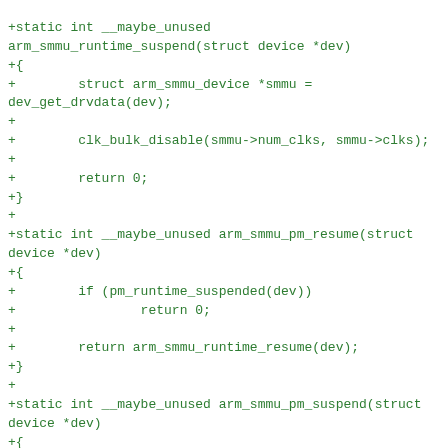+static int __maybe_unused
arm_smmu_runtime_suspend(struct device *dev)
+{
+        struct arm_smmu_device *smmu =
dev_get_drvdata(dev);
+
+        clk_bulk_disable(smmu->num_clks, smmu->clks);
+
+        return 0;
+}
+
+static int __maybe_unused arm_smmu_pm_resume(struct
device *dev)
+{
+        if (pm_runtime_suspended(dev))
+                return 0;
+
+        return arm_smmu_runtime_resume(dev);
+}
+
+static int __maybe_unused arm_smmu_pm_suspend(struct
device *dev)
+{
+        if (pm_runtime_suspended(dev))
+                return 0;
+
+        return arm_smmu_runtime_suspend(dev);
+}
+
+static const struct dev_pm_ops arm_smmu_pm_ops = {